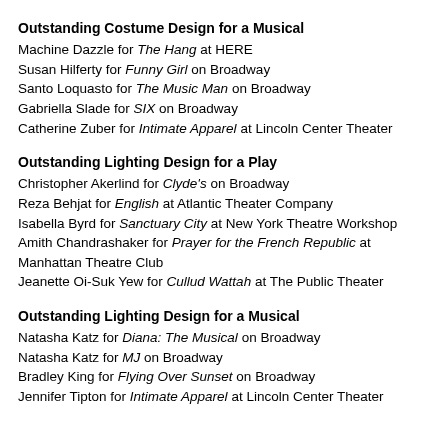Outstanding Costume Design for a Musical
Machine Dazzle for The Hang at HERE
Susan Hilferty for Funny Girl on Broadway
Santo Loquasto for The Music Man on Broadway
Gabriella Slade for SIX on Broadway
Catherine Zuber for Intimate Apparel at Lincoln Center Theater
Outstanding Lighting Design for a Play
Christopher Akerlind for Clyde's on Broadway
Reza Behjat for English at Atlantic Theater Company
Isabella Byrd for Sanctuary City at New York Theatre Workshop
Amith Chandrashaker for Prayer for the French Republic at Manhattan Theatre Club
Jeanette Oi-Suk Yew for Cullud Wattah at The Public Theater
Outstanding Lighting Design for a Musical
Natasha Katz for Diana: The Musical on Broadway
Natasha Katz for MJ on Broadway
Bradley King for Flying Over Sunset on Broadway
Jennifer Tipton for Intimate Apparel at Lincoln Center Theater